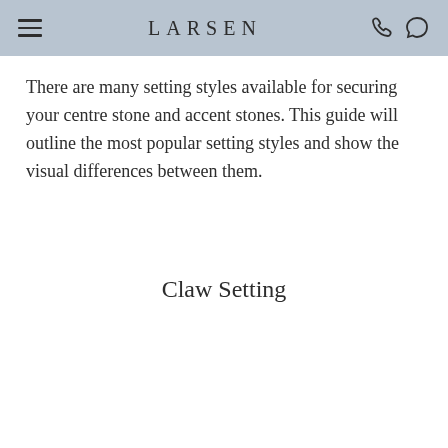LARSEN
There are many setting styles available for securing your centre stone and accent stones. This guide will outline the most popular setting styles and show the visual differences between them.
Claw Setting